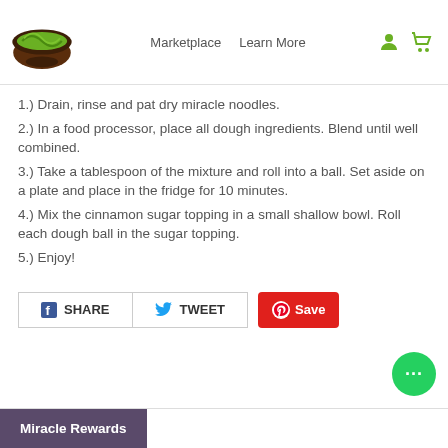Miracle Noodle — Marketplace | Learn More
1.) Drain, rinse and pat dry miracle noodles.
2.) In a food processor, place all dough ingredients. Blend until well combined.
3.) Take a tablespoon of the mixture and roll into a ball. Set aside on a plate and place in the fridge for 10 minutes.
4.) Mix the cinnamon sugar topping in a small shallow bowl. Roll each dough ball in the sugar topping.
5.) Enjoy!
[Figure (other): Social share buttons: Facebook SHARE, Twitter TWEET, Pinterest Save]
Miracle Rewards